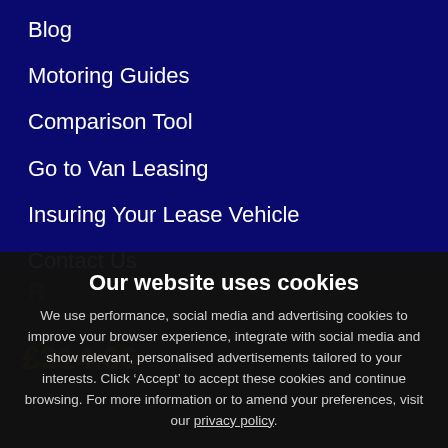Blog
Motoring Guides
Comparison Tool
Go to Van Leasing
Insuring Your Lease Vehicle
Contact Us
Our website uses cookies
We use performance, social media and advertising cookies to improve your browser experience, integrate with social media and show relevant, personalised advertisements tailored to your interests. Click ‘Accept’ to accept these cookies and continue browsing. For more information or to amend your preferences, visit our privacy policy.
Change Settings
ACCEPT